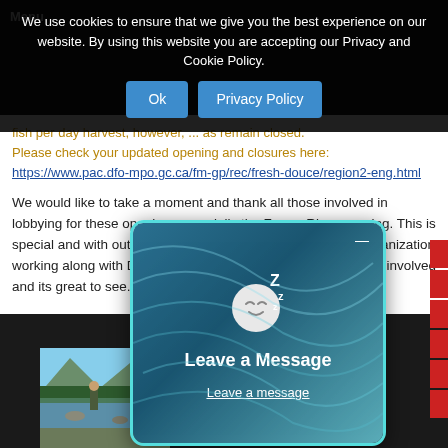Menu
We use cookies to ensure that we give you the best experience on our website. By using this website you are accepting our Privacy and Cookie Policy.
fish per day harvest, however, ... as remain closed. Please check your updated opening and closures here: https://www.pac.dfo-mpo.gc.ca/fm-gp/rec/fresh-douce/region2-eng.html
We would like to take a moment and thank all those involved in lobbying for these opening, especially the Fraser River opening. This is special and with out the tireless efforts of the many fishing organization working along with DFO as well as first nations this ne... those involved and its great to see... cause.
[Figure (photo): Person fishing in a river with mountains in background]
[Figure (infographic): Leave a Message popup with sleeping emoji icon and 'Leave a message' link on a teal swirl background]